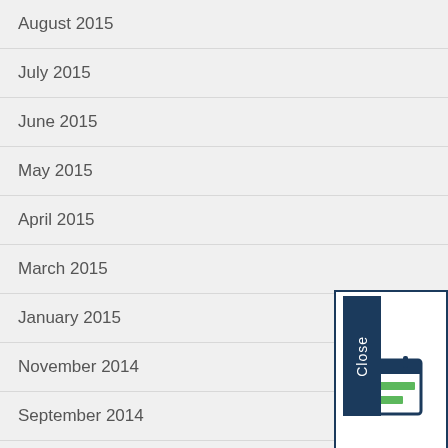August 2015
July 2015
June 2015
May 2015
April 2015
March 2015
January 2015
November 2014
September 2014
August 2014
July 2014
[Figure (screenshot): A popup overlay showing a close button (dark navy blue vertical tab with white text 'Close') and a white card with a calendar/document icon in green and navy blue]